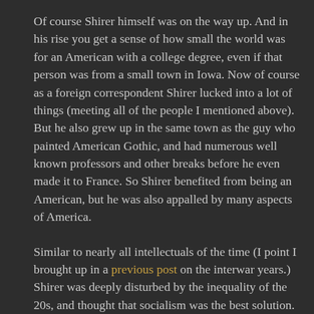Of course Shirer himself was on the way up. And in his rise you get a sense of how small the world was for an American with a college degree, even if that person was from a small town in Iowa. Now of course as a foreign correspondent Shirer lucked into a lot of things (meeting all of the people I mentioned above). But he also grew up in the same town as the guy who painted American Gothic, and had numerous well known professors and other breaks before he even made it to France. So Shirer benefited from being an American, but he was also appalled by many aspects of America.
Similar to nearly all intellectuals of the time (I point I brought up in a previous post on the interwar years.) Shirer was deeply disturbed by the inequality of the 20s, and thought that socialism was the best solution. And indeed it's hard to read of the way capitol treated labor during this period without having similar